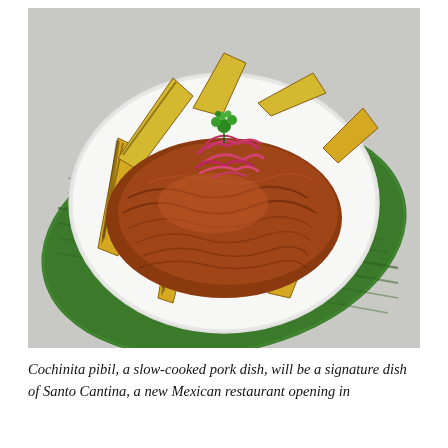[Figure (photo): A white plate holding cochinita pibil — shredded slow-cooked pork topped with pickled red onions and a sprig of green herb — arranged on top of grilled plantain wedges fanned out on the plate. The plate sits on a large green banana leaf on a metal surface.]
Cochinita pibil, a slow-cooked pork dish, will be a signature dish of Santo Cantina, a new Mexican restaurant opening in